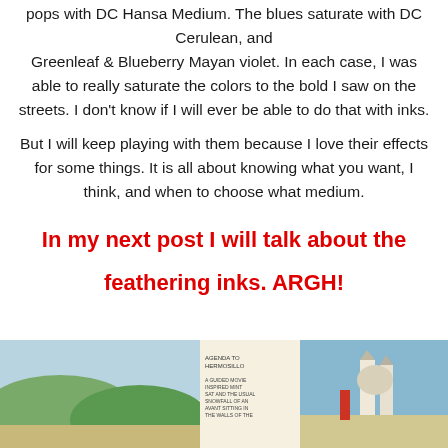pops with DC Hansa Medium. The blues saturate with DC Cerulean, and Greenleaf & Blueberry Mayan violet. In each case, I was able to really saturate the colors to the bold I saw on the streets. I don't know if I will ever be able to do that with inks.
But I will keep playing with them because I love their effects for some things. It is all about knowing what you want, I think, and when to choose what medium.
In my next post I will talk about the feathering inks. ARGH!
[Figure (illustration): Watercolor sketch journal spread showing landscape with hills and a cathedral/church building, with handwritten notes]